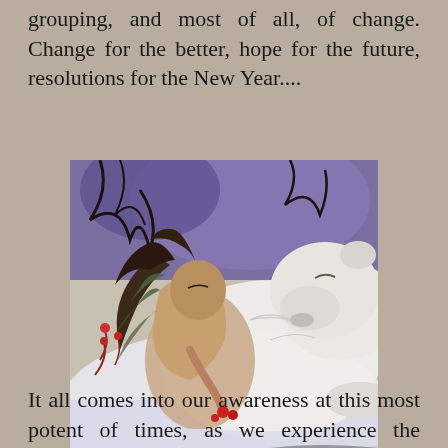grouping, and most of all, of change. Change for the better, hope for the future, resolutions for the New Year....
[Figure (illustration): Fantasy illustration of a woman with flowing dark hair and greenish wings or feathers, resting against or embracing a large white polar bear or wolf-like creature. The woman holds a small red object (fruit or berry) in her hand. Background shows purple/blue sky and dark tree branches. Art style is painterly and mythological.]
It all comes into our awareness at this most potent of times, as we experience the longest